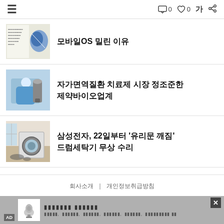≡  □ 0  ♡ 0  가  ⋮
모바일OS 밀린 이유
자가면역질환 치료제 시장 정조준한 제약바이오업계
삼성전자, 22일부터 '유리문 깨짐' 드럼세탁기 무상 수리
회사소개  |  개인정보취급방침
[Figure (screenshot): Advertisement banner at bottom with product icon and Korean text]